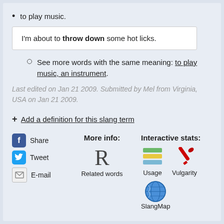to play music.
I'm about to throw down some hot licks.
See more words with the same meaning: to play music, an instrument.
Last edited on Jan 21 2009. Submitted by Mel from Virginia, USA on Jan 21 2009.
+ Add a definition for this slang term
[Figure (infographic): Social sharing buttons (Facebook Share, Tweet, E-mail), More info section with R for Related words, Interactive stats with Usage bar chart icon and Vulgarity pencil icon, and SlangMap globe icon]